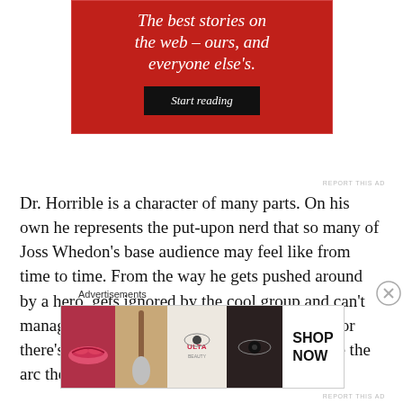[Figure (screenshot): Red advertisement banner with italic white text reading 'The best stories on the web – ours, and everyone else's.' and a black 'Start reading' button]
REPORT THIS AD
Dr. Horrible is a character of many parts. On his own he represents the put-upon nerd that so many of Joss Whedon's base audience may feel like from time to time. From the way he gets pushed around by a hero, gets ignored by the cool group and can't manage to introduce himself to the girl next door there's plenty to make Billy feel familiar. While the arc the character follows may soon
Advertisements
[Figure (screenshot): Ulta Beauty advertisement banner showing makeup imagery - lips, brush, eyes, Ulta logo, and 'SHOP NOW' call to action]